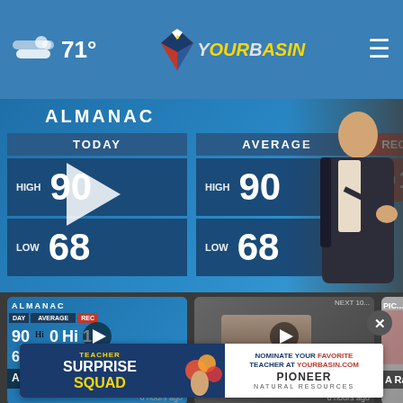[Figure (screenshot): YourBasin website header with weather icon showing 71°F, YourBasin logo with Texas flag icon, and hamburger menu icon on blue background]
[Figure (screenshot): Weather almanac video still showing TODAY HIGH 90 LOW 68, AVERAGE HIGH 90 LOW 68, REC HIGH 1[truncated], with meteorologist standing next to display board. Large play button overlay.]
[Figure (screenshot): Thumbnail: A Mild Week Ahead – 9-5-22, almanac weather display with play button, 6 hours ago]
[Figure (screenshot): Thumbnail: Caught on Camera: Customer steals..., blurry video still with play button, 6 hours ago]
[Figure (screenshot): Thumbnail: A Rain[bow?] 9-5-20, partially visible]
[Figure (screenshot): Advertisement banner: Teacher Surprise Squad - Nominate Your Favorite Teacher at YourBasin.com, Pioneer Natural Resources]